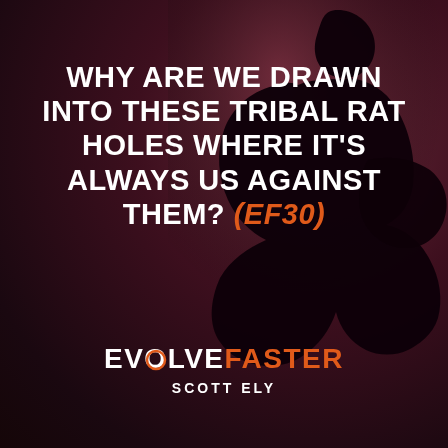[Figure (illustration): Dark reddish-purple background with a silhouette of a person hunched over/kneeling in distress, positioned in the right half of the image]
WHY ARE WE DRAWN INTO THESE TRIBAL RAT HOLES WHERE IT'S ALWAYS US AGAINST THEM? (EF30)
EVOLVEFASTER SCOTT ELY